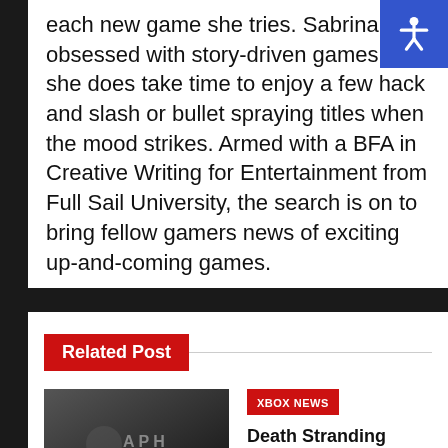each new game she tries. Sabrina is obsessed with story-driven games, but she does take time to enjoy a few hack and slash or bullet spraying titles when the mood strikes. Armed with a BFA in Creative Writing for Entertainment from Full Sail University, the search is on to bring fellow gamers news of exciting up-and-coming games.
Related Post
[Figure (screenshot): Dark game screenshot with 'Translate »' button overlay]
XBOX NEWS
Death Stranding Officially Coming to Game Pass PC